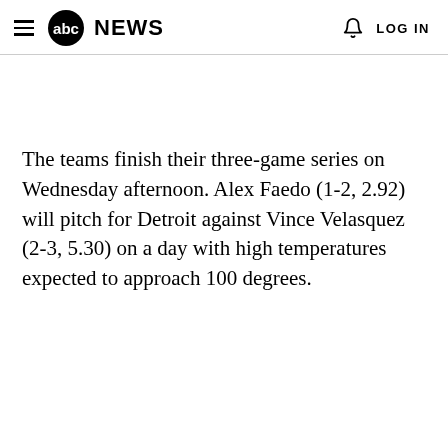abc NEWS  LOG IN
The teams finish their three-game series on Wednesday afternoon. Alex Faedo (1-2, 2.92) will pitch for Detroit against Vince Velasquez (2-3, 5.30) on a day with high temperatures expected to approach 100 degrees.